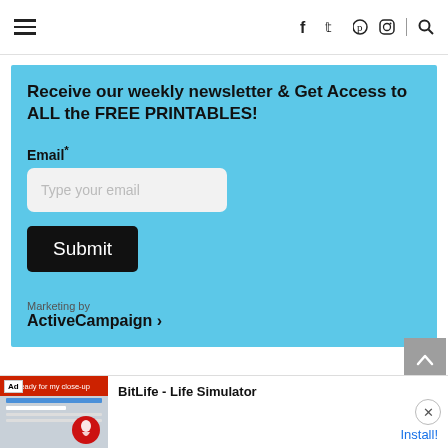≡  f  twitter  pinterest  instagram  | search
Receive our weekly newsletter & Get Access to ALL the FREE PRINTABLES!
Email*
Type your email
Submit
Marketing by
ActiveCampaign ›
[Figure (screenshot): Advertisement bar at bottom: BitLife - Life Simulator app ad with Install button and close (X) button]